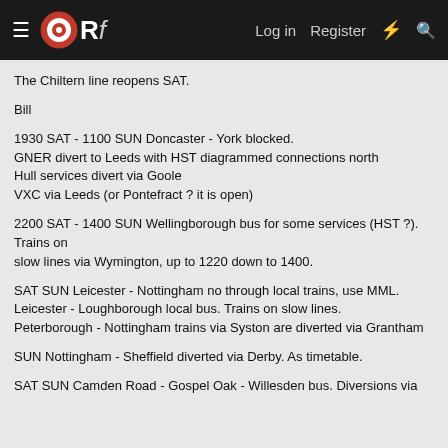≡ ORf  Log in  Register  ⚡  🔍
The Chiltern line reopens SAT.
Bill
1930 SAT - 1100 SUN Doncaster - York blocked.
GNER divert to Leeds with HST diagrammed connections north
Hull services divert via Goole
VXC via Leeds (or Pontefract ? it is open)
2200 SAT - 1400 SUN Wellingborough bus for some services (HST ?). Trains on
slow lines via Wymington, up to 1220 down to 1400.
SAT SUN Leicester - Nottingham no through local trains, use MML.
Leicester - Loughborough local bus. Trains on slow lines.
Peterborough - Nottingham trains via Syston are diverted via Grantham
SUN Nottingham - Sheffield diverted via Derby. As timetable.
SAT SUN Camden Road - Gospel Oak - Willesden bus. Diversions via